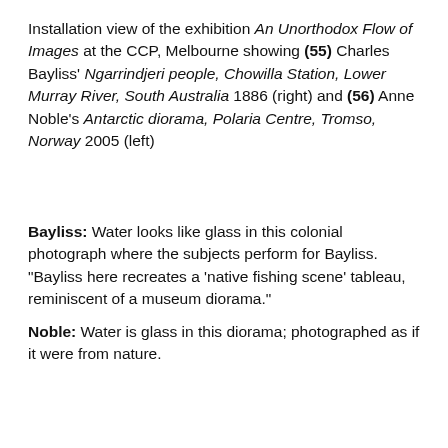Installation view of the exhibition An Unorthodox Flow of Images at the CCP, Melbourne showing (55) Charles Bayliss' Ngarrindjeri people, Chowilla Station, Lower Murray River, South Australia 1886 (right) and (56) Anne Noble's Antarctic diorama, Polaria Centre, Tromso, Norway 2005 (left)
Bayliss: Water looks like glass in this colonial photograph where the subjects perform for Bayliss. "Bayliss here recreates a 'native fishing scene' tableau, reminiscent of a museum diorama."
Noble: Water is glass in this diorama; photographed as if it were from nature.